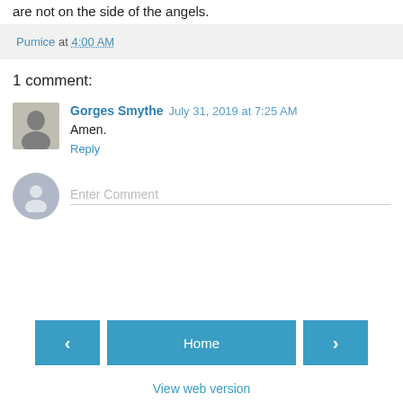are not on the side of the angels.
Pumice at 4:00 AM
1 comment:
Gorges Smythe July 31, 2019 at 7:25 AM
Amen.
Reply
Enter Comment
Home
View web version